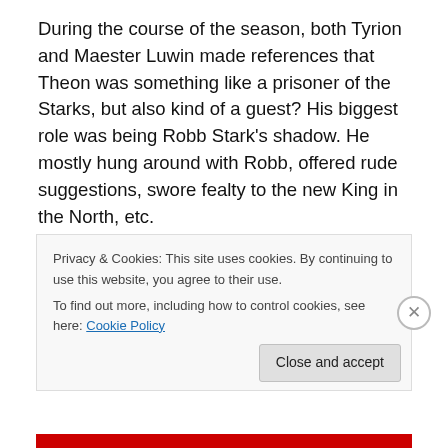During the course of the season, both Tyrion and Maester Luwin made references that Theon was something like a prisoner of the Starks, but also kind of a guest? His biggest role was being Robb Stark's shadow. He mostly hung around with Robb, offered rude suggestions, swore fealty to the new King in the North, etc.
The surface takeaway was that Theon was a secondary
Privacy & Cookies: This site uses cookies. By continuing to use this website, you agree to their use.
To find out more, including how to control cookies, see here: Cookie Policy